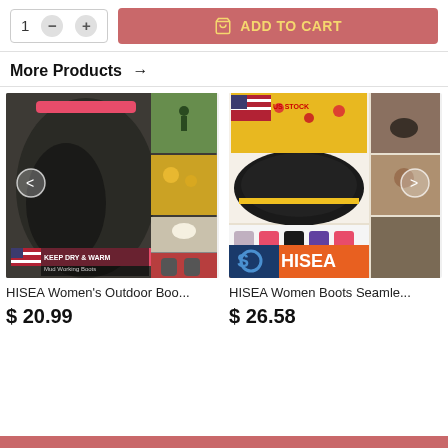[Figure (screenshot): Add to cart UI with quantity selector (showing 1, minus and plus buttons) and a red 'ADD TO CART' button with shopping bag icon]
More Products →
[Figure (photo): HISEA Women's Outdoor camo boot product image collage with 'KEEP DRY & WARM Mud Working Boots' text and US flag, with back navigation arrow]
HISEA Women's Outdoor Boo...
$ 20.99
[Figure (photo): HISEA Women Boots Seamless product image collage showing yellow patterned boots, sole view, multiple colorful boots, farm scenes, HISEA branded logo bar, US STOCK label, with navigation arrow]
HISEA Women Boots Seamle...
$ 26.58